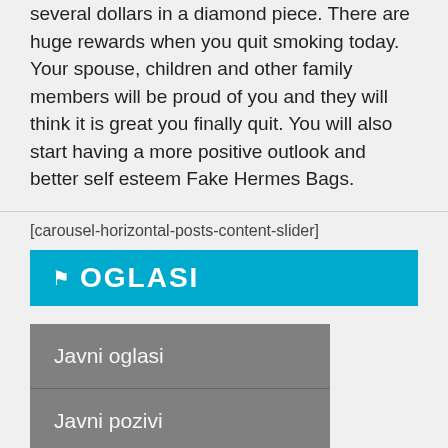purchase. After all, you are going to spend several dollars in a diamond piece. There are huge rewards when you quit smoking today. Your spouse, children and other family members will be proud of you and they will think it is great you finally quit. You will also start having a more positive outlook and better self esteem Fake Hermes Bags.
[carousel-horizontal-posts-content-slider]
OGLASI
Javni oglasi
Javni pozivi
Javna nabavka